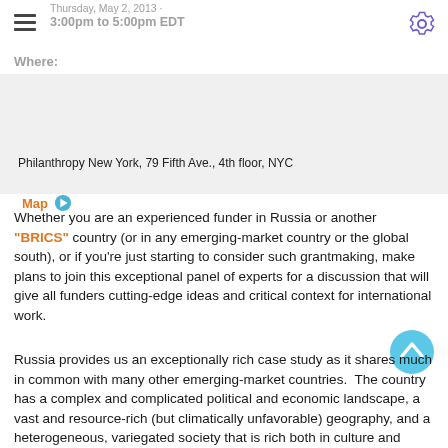Thursday, May 2, 2013 · 3:00pm to 5:00pm EDT
Where:
Philanthropy New York, 79 Fifth Ave., 4th floor, NYC
Map ▶
Whether you are an experienced funder in Russia or another "BRICS" country (or in any emerging-market country or the global south), or if you're just starting to consider such grantmaking, make plans to join this exceptional panel of experts for a discussion that will give all funders cutting-edge ideas and critical context for international work.
Russia provides us an exceptionally rich case study as it shares much in common with many other emerging-market countries.  The country has a complex and complicated political and economic landscape, a vast and resource-rich (but climatically unfavorable) geography, and a heterogeneous, variegated society that is rich both in culture and conflict. All of these factors make Russia a key site for